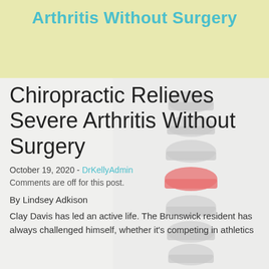Arthritis Without Surgery
[Figure (illustration): 3D anatomical illustration of a human spine/vertebral column with one vertebra highlighted in red/pink, shown on a light gray background]
Chiropractic Relieves Severe Arthritis Without Surgery
October 19, 2020 - DrKellyAdmin
Comments are off for this post.
By Lindsey Adkison
Clay Davis has led an active life. The Brunswick resident has always challenged himself, whether it's competing in athletics